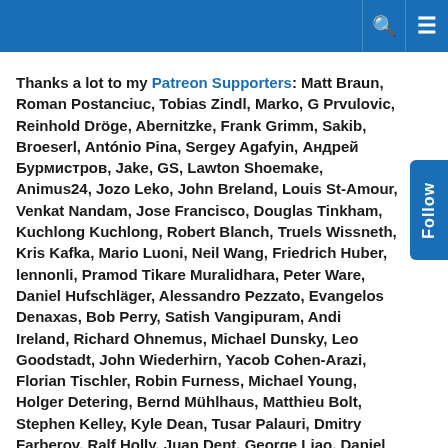Thanks a lot to my Patreon Supporters: Matt Braun, Roman Postanciuc, Tobias Zindl, Marko, G Prvulovic, Reinhold Dröge, Abernitzke, Frank Grimm, Sakib, Broeserl, António Pina, Sergey Agafyin, Андрей Бурмистров, Jake, GS, Lawton Shoemake, Animus24, Jozo Leko, John Breland, Louis St-Amour, Venkat Nandam, Jose Francisco, Douglas Tinkham, Kuchlong Kuchlong, Robert Blanch, Truels Wissneth, Kris Kafka, Mario Luoni, Neil Wang, Friedrich Huber, lennonli, Pramod Tikare Muralidhara, Peter Ware, Daniel Hufschläger, Alessandro Pezzato, Evangelos Denaxas, Bob Perry, Satish Vangipuram, Andi Ireland, Richard Ohnemus, Michael Dunsky, Leo Goodstadt, John Wiederhirn, Yacob Cohen-Arazi, Florian Tischler, Robin Furness, Michael Young, Holger Detering, Bernd Mühlhaus, Matthieu Bolt, Stephen Kelley, Kyle Dean, Tusar Palauri, Dmitry Farberov, Ralf Holly, Juan Dent, George Liao, Daniel Ceperley, Jon T Hess, and Stephen Totten.